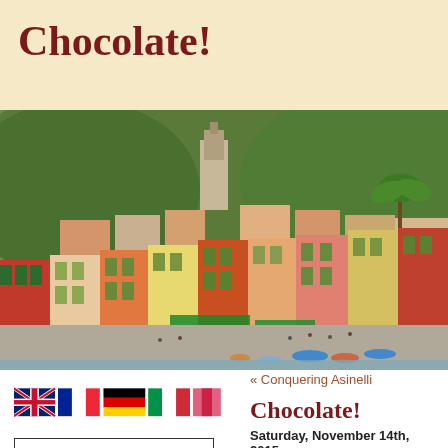Chocolate!
[Figure (photo): Aerial view of colorful Italian waterfront town (likely Portofino), with terracotta and pastel buildings, green hills, boats on water, outdoor cafes, and a church tower in the background.]
[Figure (illustration): Row of country flag icons: UK (Union Jack), France (blue-white-red), Germany (black-red-yellow), Italy (green-white-red), and a pink/red flag.]
« Conquering Asinelli
Chocolate!
Saturday, November 14th, 2015
As I have said before, there's alum...